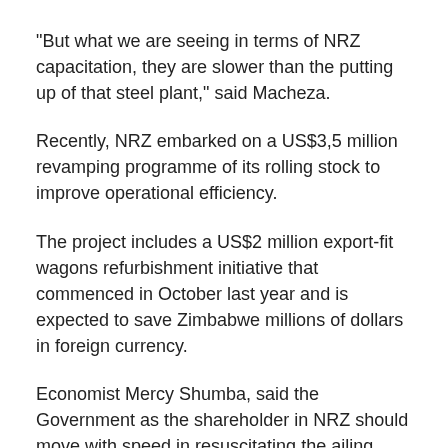“But what we are seeing in terms of NRZ capacitation, they are slower than the putting up of that steel plant,” said Macheza.
Recently, NRZ embarked on a US$3,5 million revamping programme of its rolling stock to improve operational efficiency.
The project includes a US$2 million export-fit wagons refurbishment initiative that commenced in October last year and is expected to save Zimbabwe millions of dollars in foreign currency.
Economist Mercy Shumba, said the Government as the shareholder in NRZ should move with speed in resuscitating the ailing entity.
“If NRZ is not capacitated to match with the business volume